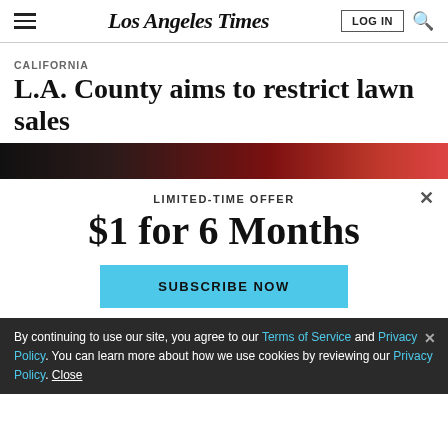Los Angeles Times
CALIFORNIA
L.A. County aims to restrict lawn sales
[Figure (photo): Partial article image strip showing a dark reddish background, cropped view of outdoor scene]
LIMITED-TIME OFFER
$1 for 6 Months
SUBSCRIBE NOW
By continuing to use our site, you agree to our Terms of Service and Privacy Policy. You can learn more about how we use cookies by reviewing our Privacy Policy. Close